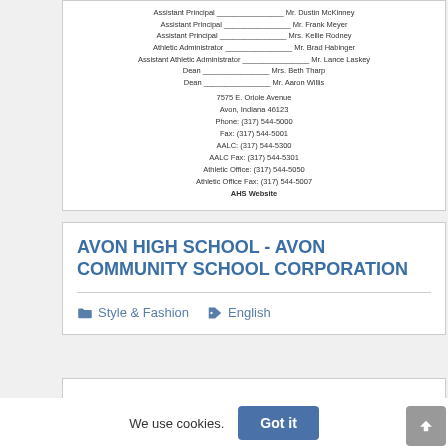Assistant Principal ____________ Mr. Dustin McKinney
Assistant Principal ____________ Mr. Frank Meyer
Assistant Principal ____________ Mrs. Kellie Rodney
Athletic Administrator ____________ Mr. Brad Habinger
Assistant Athletic Administrator ____________ Mr. Lance Laskey
Dean ____________ Mrs. Beth Tharp
Dean ____________ Mr. Aaron Willis
7575 E. Oriole Avenue
Avon, Indiana 46123
Phone: (317) 544-5000
Fax: (317) 544-5001
AALC: (317) 544-5300
AALC Fax: (317) 544-5301
Athletic Office: (317) 544-5050
Athletic Office Fax: (317) 544-5007
AHS Website
AVON HIGH SCHOOL - AVON COMMUNITY SCHOOL CORPORATION
Style & Fashion   English